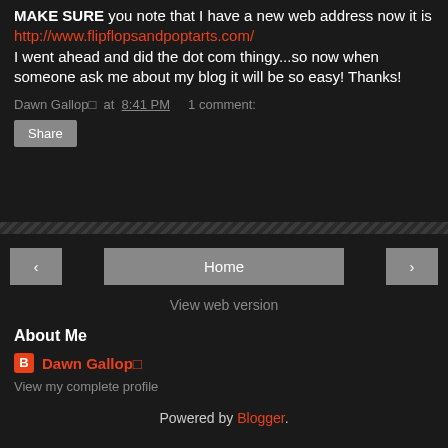MAKE SURE you note that I have a new web address now it is http://www.flipflopsandpoptarts.com/ I went ahead and did the dot com thingy...so now when someone ask me about my blog it will be so easy! Thanks!
Dawn Gallop◻ at 8:41 PM   1 comment:
Share
Home
View web version
About Me
Dawn Gallop◻
View my complete profile
Powered by Blogger.